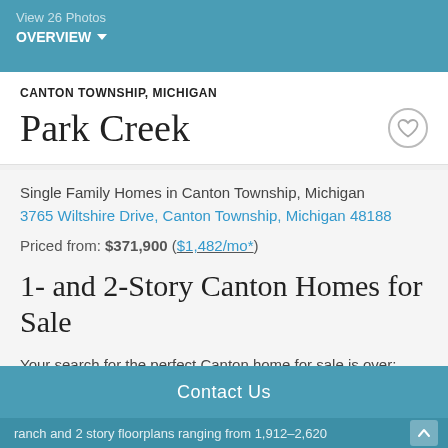View 26 Photos
OVERVIEW
CANTON TOWNSHIP, MICHIGAN
Park Creek
Single Family Homes in Canton Township, Michigan
3765 Wiltshire Drive, Canton Township, Michigan 48188
Priced from: $371,900 ($1,482/mo*)
1- and 2-Story Canton Homes for Sale
Your search for the perfect Canton home for sale is over: welcome to Park Creek! Featuring 9 total custom designed
ranch and 2 story floorplans ranging from 1,912–2,620
Contact Us